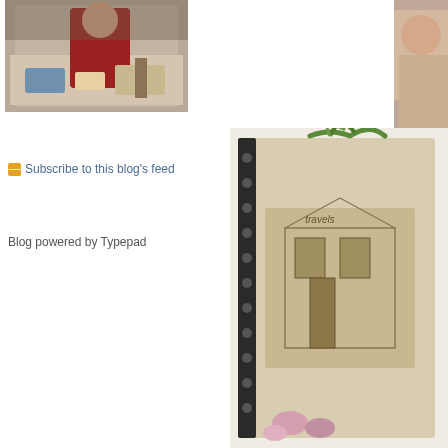[Figure (photo): Photo of a person at a craft/workshop table with art supplies]
[Figure (photo): Partial photo of a person on the right edge]
Subscribe to this blog's feed
Blog powered by Typepad
[Figure (photo): Handmade journal/sketchbook with green ribbon and architectural sketch on cover]
Posted at 12:37 PM in Workshop Sojourns | Perm
June 22, 2007
The Queen's Ink
[Figure (photo): Large metallic/mosaic sculpture of a bird or egg shape on a street]
First Visio treas taugh build spec